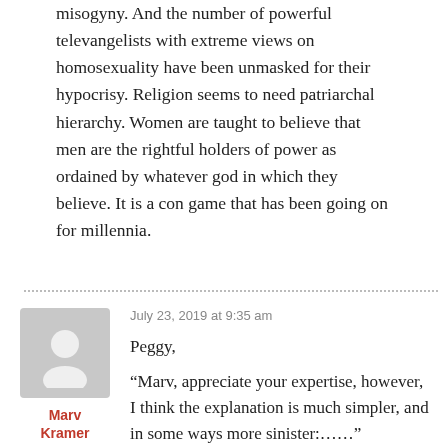misogyny. And the number of powerful televangelists with extreme views on homosexuality have been unmasked for their hypocrisy. Religion seems to need patriarchal hierarchy. Women are taught to believe that men are the rightful holders of power as ordained by whatever god in which they believe. It is a con game that has been going on for millennia.
July 23, 2019 at 9:35 am
Peggy,
Marv Kramer
“Marv, appreciate your expertise, however, I think the explanation is much simpler, and in some ways more sinister:……”